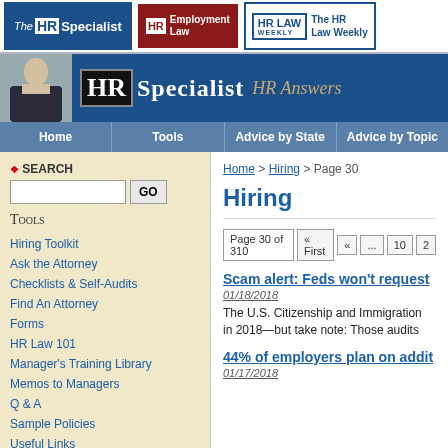The HR Specialist | HR Employment Law | HR LAW Weekly - The HR Law Weekly
[Figure (screenshot): HR Specialist banner with woman photo, HR logo, Specialist text, HR Answers tagline]
Home | Tools | Advice by State | Advice by Topic
SEARCH
Tools
Hiring Toolkit
Ask the Attorney
Checklists & Self-Audits
Find An Attorney
Forms
HR Law 101
Manager's Training Library
Memos to Managers
Q & A
Sample Policies
Useful Links
Home > Hiring > Page 30
Hiring
Page 30 of 310 | « First | « | ... | 10 | 2
Scam alert: Feds won't request...
01/18/2018
The U.S. Citizenship and Immigration... in 2018—but take note: Those audits
44% of employers plan on addit...
01/17/2018